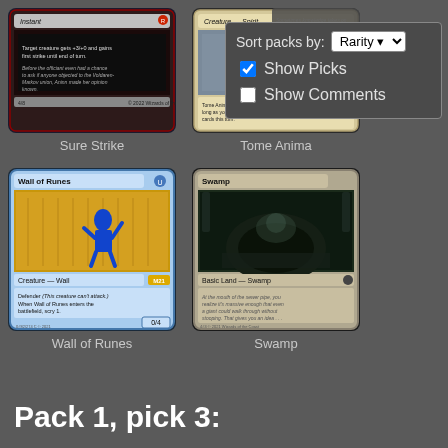[Figure (screenshot): Magic: The Gathering card 'Sure Strike' - Instant card with red/black border, partially visible]
Sure Strike
[Figure (screenshot): Magic: The Gathering card 'Tome Anima' - Creature Spirit card, partially visible]
Tome Anima
[Figure (screenshot): Sort packs by: Rarity dropdown, Show Picks checkbox (checked), Show Comments checkbox (unchecked)]
[Figure (screenshot): Magic: The Gathering card 'Wall of Runes' - Creature Wall, blue bordered card with blue figure against golden wall art]
Wall of Runes
[Figure (screenshot): Magic: The Gathering card 'Swamp' - Basic Land Swamp with dark tunnel/sewer artwork]
Swamp
Pack 1, pick 3: